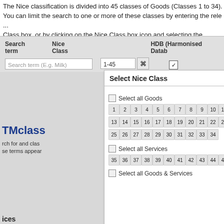The Nice classification is divided into 45 classes of Goods (Classes 1 to 34). You can limit the search to one or more of these classes by entering the relevant Class box, or by clicking on the Nice Class box icon and selecting the releva...
[Figure (screenshot): Search interface showing Search term input, Nice Class input (1-45) with grid icon, and HDB (Harmonised Datab...) checkbox checked]
[Figure (screenshot): Select Nice Class popup panel with checkboxes for Select all Goods, a grid of numbers 1-34 (skipping 12 and 24), Select all Services, a grid of numbers 35-45, and Select all Goods & Services checkbox]
TMclass
rch for and clas se terms appea
ices